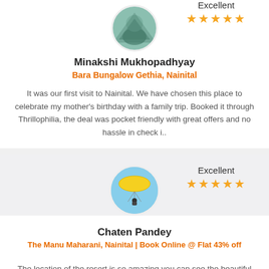[Figure (photo): Circular avatar photo showing a nature/mountain scene]
Excellent
★★★★★
Minakshi Mukhopadhyay
Bara Bungalow Gethia, Nainital
It was our first visit to Nainital. We have chosen this place to celebrate my mother's birthday with a family trip. Booked it through Thrillophilia, the deal was pocket friendly with great offers and no hassle in check i..
[Figure (photo): Circular avatar photo showing a paraglider in blue sky]
Excellent
★★★★★
Chaten Pandey
The Manu Maharani, Nainital | Book Online @ Flat 43% off
The location of the resort is so amazing you can see the beautiful nature from there, a perfect place for an amazing and relaxing weekend. The greenery everywhere was so refreshing. I totally enjoy...